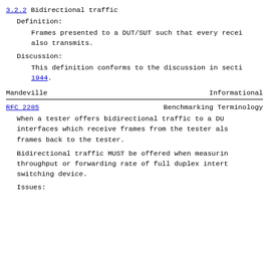3.2.2 Bidirectional traffic
Definition:
Frames presented to a DUT/SUT such that every recei also transmits.
Discussion:
This definition conforms to the discussion in sect 1944.
Mandeville                    Informational
RFC 2285                 Benchmarking Terminology
When a tester offers bidirectional traffic to a DU interfaces which receive frames from the tester als frames back to the tester.
Bidirectional traffic MUST be offered when measurin throughput or forwarding rate of full duplex intert switching device.
Issues: